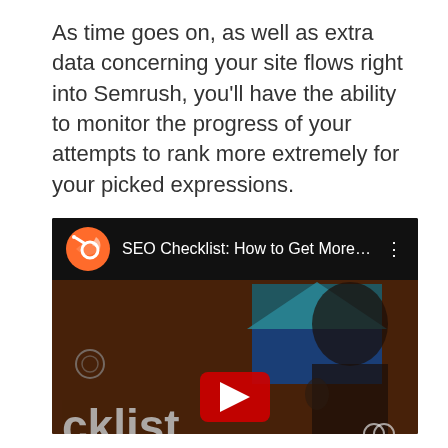As time goes on, as well as extra data concerning your site flows right into Semrush, you'll have the ability to monitor the progress of your attempts to rank more extremely for your picked expressions.
[Figure (screenshot): A YouTube video thumbnail showing 'SEO Checklist: How to Get More...' with the Semrush orange logo icon on the left, three-dot menu on the right in the dark header bar. The video thumbnail shows a woman smiling with a thumbs up gesture, a teal/blue geometric shape, and a YouTube play button in the center. The word 'cklist' appears in large text at the bottom left, and a Semrush logo appears at the bottom right.]